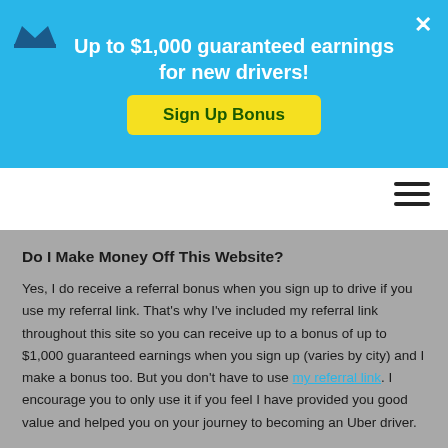[Figure (screenshot): Blue promotional banner with crown icon, text 'Up to $1,000 guaranteed earnings for new drivers!' and a yellow 'Sign Up Bonus' button, with an X close button]
Navigation bar with hamburger menu icon
Do I Make Money Off This Website?
Yes, I do receive a referral bonus when you sign up to drive if you use my referral link. That's why I've included my referral link throughout this site so you can receive up to a bonus of up to $1,000 guaranteed earnings when you sign up (varies by city) and I make a bonus too. But you don't have to use my referral link. I encourage you to only use it if you feel I have provided you good value and helped you on your journey to becoming an Uber driver.